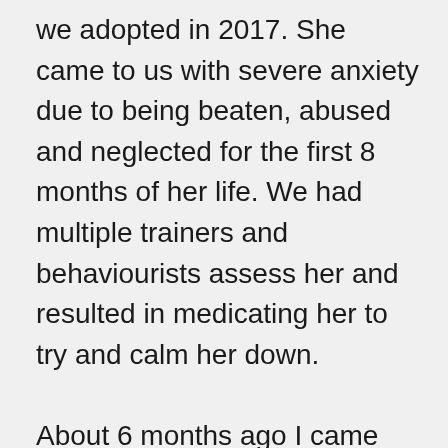we adopted in 2017. She came to us with severe anxiety due to being beaten, abused and neglected for the first 8 months of her life. We had multiple trainers and behaviourists assess her and resulted in medicating her to try and calm her down.

About 6 months ago I came across weighted blankets and figured it couldn't hurt to try something else to ease her anxiety and this by far was the best thing we have EVER bought for her!

Some nights she would be uncontrollable even with medication, she would be unsettled, nervous and frantically whilst she lays next to breed down